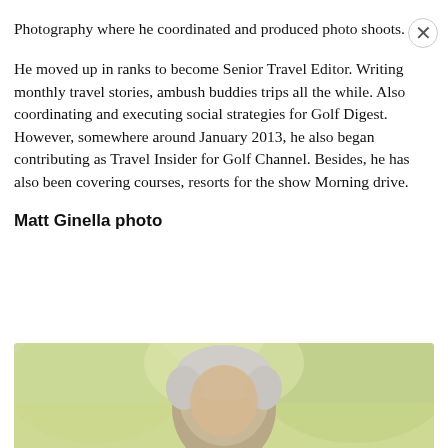Photography where he coordinated and produced photo shoots.
He moved up in ranks to become Senior Travel Editor. Writing monthly travel stories, ambush buddies trips all the while. Also coordinating and executing social strategies for Golf Digest. However, somewhere around January 2013, he also began contributing as Travel Insider for Golf Channel. Besides, he has also been covering courses, resorts for the show Morning drive.
Matt Ginella photo
[Figure (photo): Photo of Matt Ginella, a person with grey/silver hair shown from head level, with a blurred green outdoor background.]